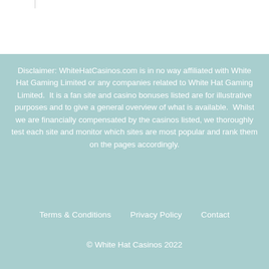Disclaimer: WhiteHatCasinos.com is in no way affiliated with White Hat Gaming Limited or any companies related to White Hat Gaming Limited.  It is a fan site and casino bonuses listed are for illustrative purposes and to give a general overview of what is available.  Whilst we are financially compensated by the casinos listed, we thoroughly test each site and monitor which sites are most popular and rank them on the pages accordingly.
Terms & Conditions    Privacy Policy    Contact
© White Hat Casinos 2022